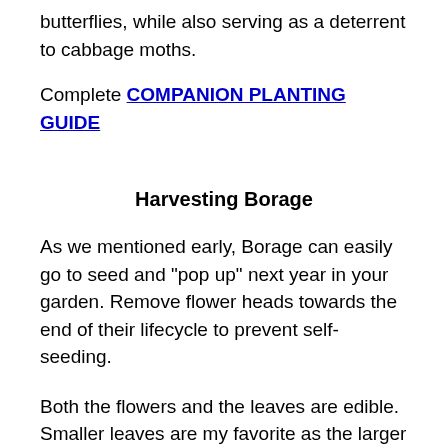butterflies, while also serving as a deterrent to cabbage moths.
Complete COMPANION PLANTING GUIDE
Harvesting Borage
As we mentioned early, Borage can easily go to seed and "pop up" next year in your garden. Remove flower heads towards the end of their lifecycle to prevent self-seeding.
Both the flowers and the leaves are edible. Smaller leaves are my favorite as the larger leaves can be prickly.
The orange flowers are also